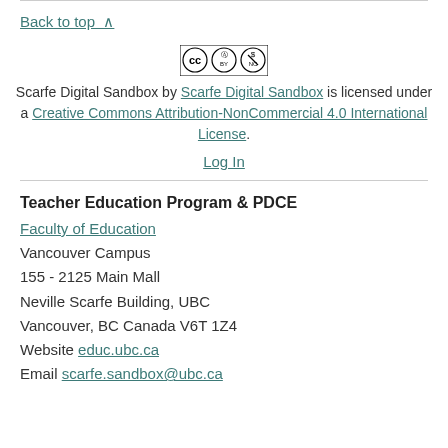Back to top ∧
[Figure (logo): Creative Commons BY-NC license badge]
Scarfe Digital Sandbox by Scarfe Digital Sandbox is licensed under a Creative Commons Attribution-NonCommercial 4.0 International License.
Log In
Teacher Education Program & PDCE
Faculty of Education
Vancouver Campus
155 - 2125 Main Mall
Neville Scarfe Building, UBC
Vancouver, BC Canada V6T 1Z4
Website educ.ubc.ca
Email scarfe.sandbox@ubc.ca